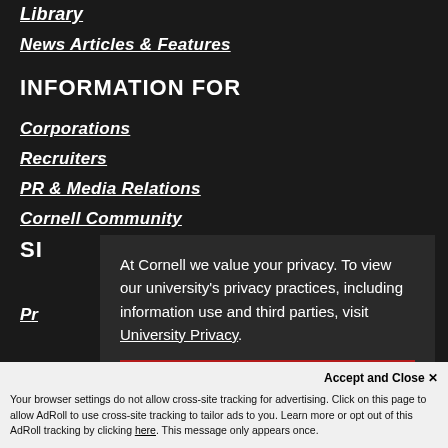Library
News Articles & Features
INFORMATION FOR
Corporations
Recruiters
PR & Media Relations
Cornell Community
At Cornell we value your privacy. To view our university's privacy practices, including information use and third parties, visit University Privacy.
Thanks for letting me know
Accept and Close ✕
Your browser settings do not allow cross-site tracking for advertising. Click on this page to allow AdRoll to use cross-site tracking to tailor ads to you. Learn more or opt out of this AdRoll tracking by clicking here. This message only appears once.